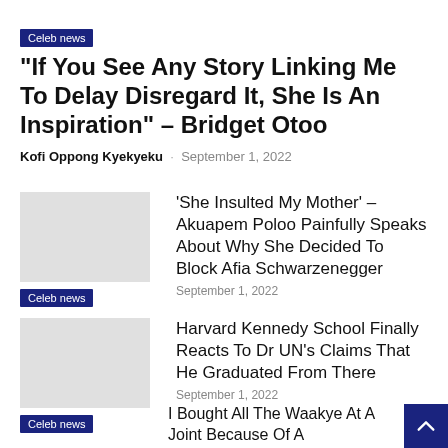Celeb news
“If You See Any Story Linking Me To Delay Disregard It, She Is An Inspiration” – Bridget Otoo
Kofi Oppong Kyekyeku · September 1, 2022
[Figure (photo): Thumbnail image placeholder]
Celeb news
‘She Insulted My Mother’ – Akuapem Poloo Painfully Speaks About Why She Decided To Block Afia Schwarzenegger
September 1, 2022
[Figure (photo): Thumbnail image placeholder]
Celeb news
Harvard Kennedy School Finally Reacts To Dr UN’s Claims That He Graduated From There
September 1, 2022
I Bought All The Waakye At A Joint Because Of A Disrespectful Guy –